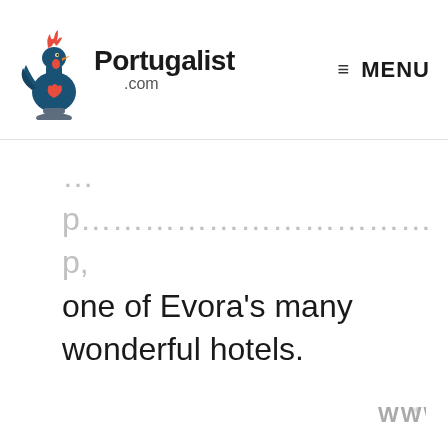Portugalist .com | MENU
one of Evora’s many wonderful hotels.